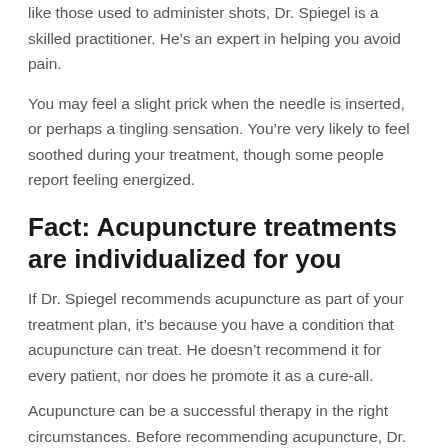like those used to administer shots, Dr. Spiegel is a skilled practitioner. He’s an expert in helping you avoid pain.
You may feel a slight prick when the needle is inserted, or perhaps a tingling sensation. You’re very likely to feel soothed during your treatment, though some people report feeling energized.
Fact: Acupuncture treatments are individualized for you
If Dr. Spiegel recommends acupuncture as part of your treatment plan, it’s because you have a condition that acupuncture can treat. He doesn’t recommend it for every patient, nor does he promote it as a cure-all.
Acupuncture can be a successful therapy in the right circumstances. Before recommending acupuncture, Dr. Spiegel will want to coordinate recommended treatment